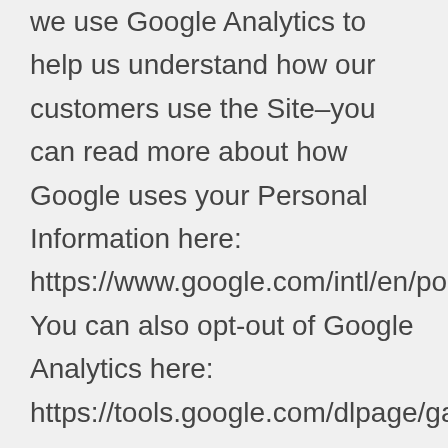we use Google Analytics to help us understand how our customers use the Site–you can read more about how Google uses your Personal Information here: https://www.google.com/intl/en/policies/privacy/. You can also opt-out of Google Analytics here: https://tools.google.com/dlpage/gaoptout. Finally, we may also share your Personal Information to comply with applicable laws and regulations, to respond to a subpoena, search warrant or other lawful request for information we receive, or to otherwise